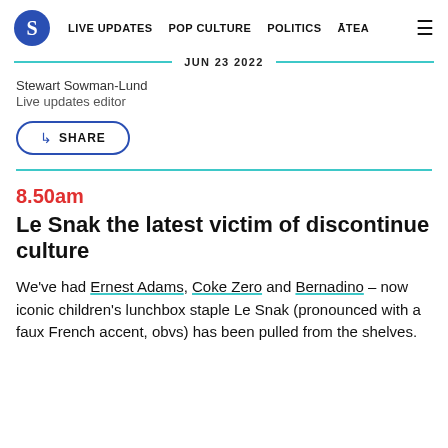S | LIVE UPDATES | POP CULTURE | POLITICS | ĀTEA
JUN 23 2022
Stewart Sowman-Lund
Live updates editor
SHARE
8.50am
Le Snak the latest victim of discontinue culture
We've had Ernest Adams, Coke Zero and Bernadino – now iconic children's lunchbox staple Le Snak (pronounced with a faux French accent, obvs) has been pulled from the shelves.